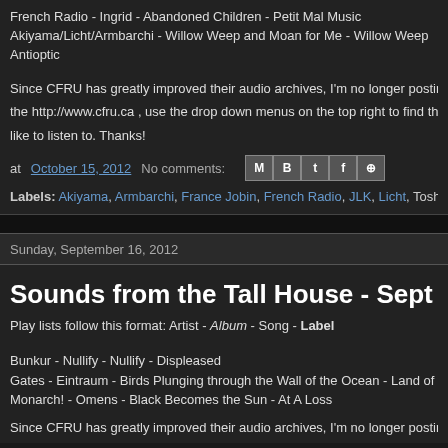French Radio - Ingrid - Abandoned Children - Petit Mal Music
Akiyama/Licht/Armbarchi - Willow Weep and Moan for Me - Willow Weep Antioptic
Since CFRU has greatly improved their audio archives, I'm no longer posting the http://www.cfru.ca , use the drop down menus on the top right to find the show you like to listen to. Thanks!
at October 15, 2012   No comments:
Labels: Akiyama, Armbarchi, France Jobin, French Radio, JLK, Licht, Toshi Io...
Sunday, September 16, 2012
Sounds from the Tall House - Sept 16/12
Play lists follow this format: Artist - Album - Song - Label
Bunkur - Nullify - Nullify - Displeased
Gates - Eintraum - Birds Plunging through the Wall of the Ocean - Land of De...
Monarch! - Omens - Black Becomes the Sun - At A Loss
Since CFRU has greatly improved their audio archives, I'm no longer posting...